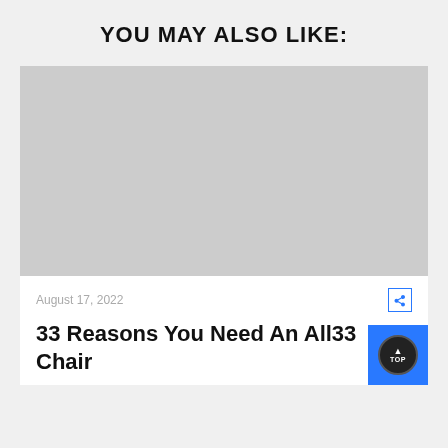YOU MAY ALSO LIKE:
[Figure (photo): Placeholder image area, light gray rectangle representing a blog post thumbnail]
August 17, 2022
33 Reasons You Need An All33 Chair